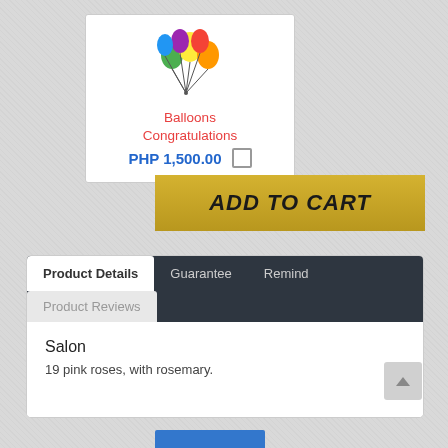[Figure (illustration): Colorful party balloons illustration]
Balloons
Congratulations
PHP 1,500.00
ADD TO CART
| Product Details | Guarantee | Remind | Product Reviews |
| --- | --- | --- | --- |
Salon
19 pink roses, with rosemary.